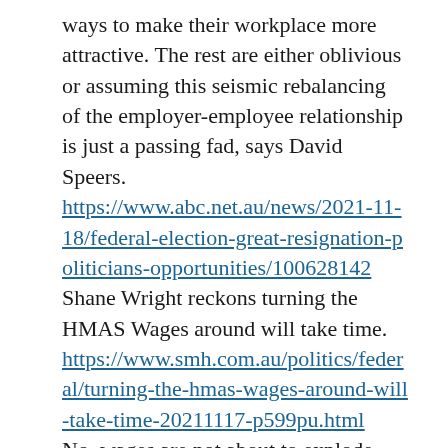ways to make their workplace more attractive. The rest are either oblivious or assuming this seismic rebalancing of the employer-employee relationship is just a passing fad, says David Speers.
https://www.abc.net.au/news/2021-11-18/federal-election-great-resignation-politicians-opportunities/100628142
Shane Wright reckons turning the HMAS Wages around will take time.
https://www.smh.com.au/politics/federal/turning-the-hmas-wages-around-will-take-time-20211117-p599pu.html
No, wages are not about to explode – they are struggling to keep up with Australia’s inflation, says Greg Jericho.